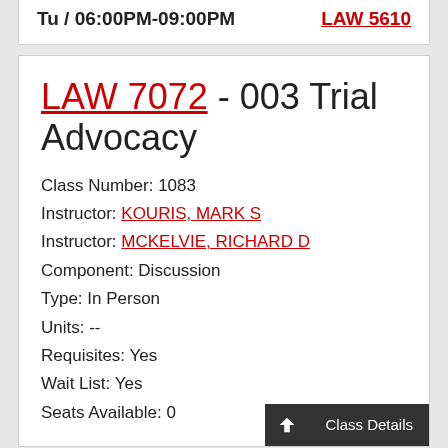Tu / 06:00PM-09:00PM
LAW 5610
LAW 7072 - 003 Trial Advocacy
Class Number: 1083
Instructor: KOURIS, MARK S
Instructor: MCKELVIE, RICHARD D
Component: Discussion
Type: In Person
Units: --
Requisites: Yes
Wait List: Yes
Seats Available: 0
Class Details